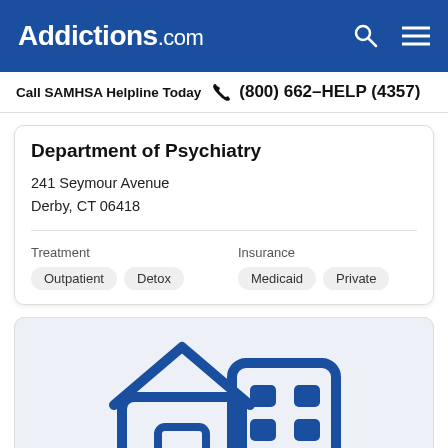Addictions.com
Call SAMHSA Helpline Today (800) 662-HELP (4357)
Department of Psychiatry
241 Seymour Avenue
Derby, CT 06418
Treatment: Outpatient, Detox | Insurance: Medicaid, Private
[Figure (illustration): Blue icon graphic showing a house and building representing residential/outpatient treatment facility]